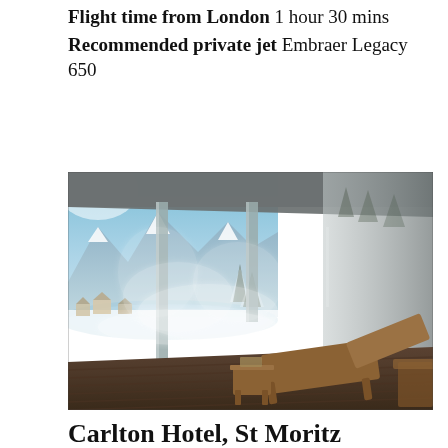Flight time from London 1 hour 30 mins
Recommended private jet Embraer Legacy 650
[Figure (photo): Interior terrace or outdoor spa/lounge area of a luxury alpine hotel in winter. Wooden deck chairs/sun loungers in foreground, steam rising, snow-covered mountains and frozen lake visible through open structure in background. Snowy trees and chalets in the distance under a blue sky.]
Carlton Hotel, St Moritz